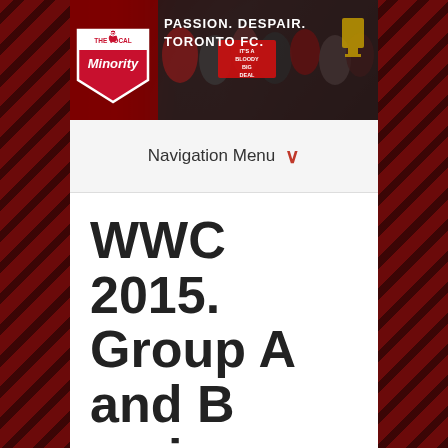[Figure (screenshot): Website header banner for 'The Vocal Minority' blog with tagline 'PASSION. DESPAIR. TORONTO FC.' featuring logo and crowd photo collage]
Navigation Menu
WWC 2015. Group A and B review and preview.